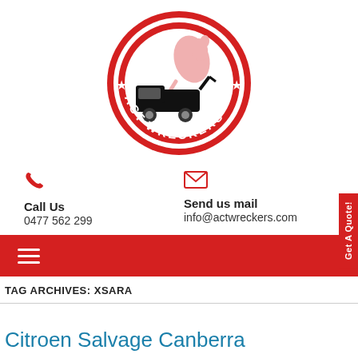[Figure (logo): ACT Wreckers circular logo: red circle with white border, kangaroo silhouette and tow truck, stars, text 'ACT WRECKERS' around bottom arc]
Call Us
0477 562 299
Send us mail
info@actwreckers.com
Get A Quote!
TAG ARCHIVES: XSARA
Citroen Salvage Canberra